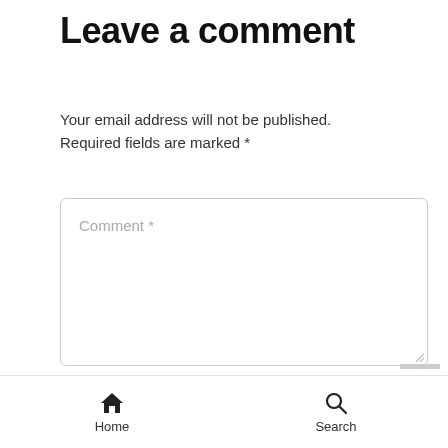Leave a comment
Your email address will not be published. Required fields are marked *
[Figure (screenshot): Comment text area input field with placeholder text 'Comment *' and a resize handle at the bottom right]
[Figure (screenshot): Name input field with placeholder text 'Name *']
Home   Search